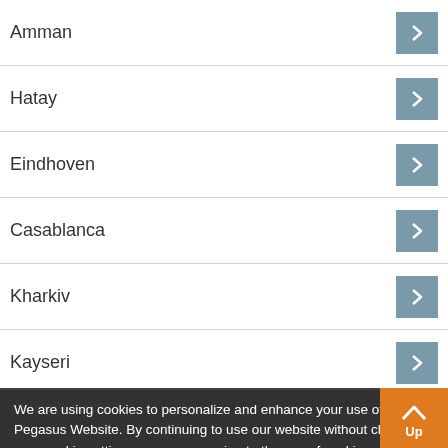Amman
Hatay
Eindhoven
Casablanca
Kharkiv
Kayseri
Kars
Kahramanmaras
Cairo
Hurghada
We are using cookies to personalize and enhance your use of the Pegasus Website. By continuing to use our website without changing your cookie settings, you are agreeing to the use of cookies as set in the Pegasus Privacy Policy.
Change Settings
I Agree
Up